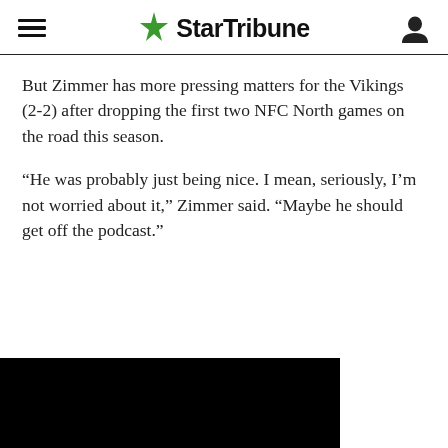StarTribune
But Zimmer has more pressing matters for the Vikings (2-2) after dropping the first two NFC North games on the road this season.
“He was probably just being nice. I mean, seriously, I’m not worried about it,” Zimmer said. “Maybe he should get off the podcast.”
[Figure (photo): Partially visible image at the bottom of the page, mostly black/dark.]